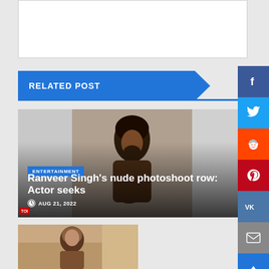[Figure (other): White advertisement/banner box at the top of the page]
RELATED POST
[Figure (photo): Photo of Ranveer Singh sitting shirtless in a studio photo shoot setting, with decorative curtain panels in the background]
Ranveer Singh's nude photoshoot row: Actor seeks
AUG 21, 2022
[Figure (photo): Second article preview image showing a woman, partially visible at bottom of page]
[Figure (other): Social media sharing sidebar with Facebook, Twitter, Reddit, Pinterest, VK, Email buttons and scroll-to-top button]